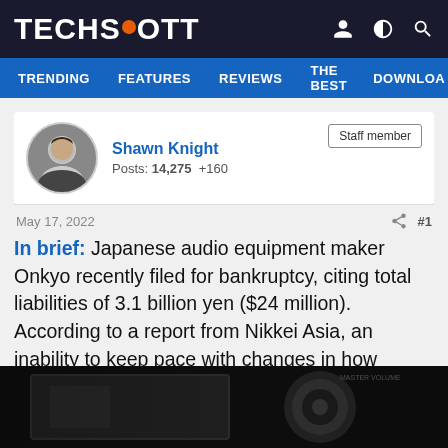TECHSPOT
TRENDING  FEATURES  REVIEWS  THE BEST  DOWNLOA
Shawn Knight
Posts: 14,275  +160
Staff member
May 17, 2022  #1
In brief: Japanese audio equipment maker Onkyo recently filed for bankruptcy, citing total liabilities of 3.1 billion yen ($24 million). According to a report from Nikkei Asia, an inability to keep pace with changes in how people listen to music led to the company's demise.
[Figure (photo): Black and white photo of audio/headphone equipment, likely an Onkyo audio device with headphones visible against a dark background]